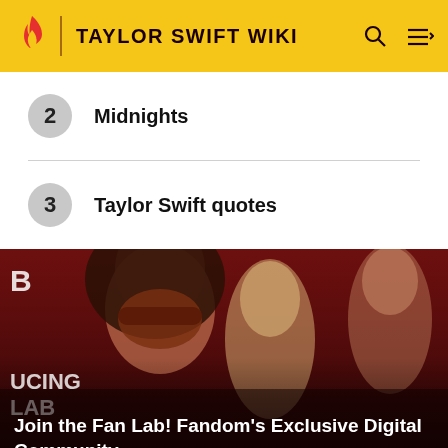TAYLOR SWIFT WIKI
2  Midnights
3  Taylor Swift quotes
[Figure (photo): Promotional image showing three costumed characters on a dark red background with text 'Join the Fan Lab! Fandom's Exclusive Digital Community']
Join the Fan Lab! Fandom's Exclusive Digital Community